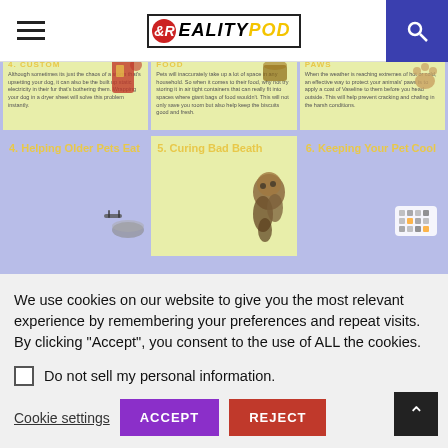RealityPod
[Figure (infographic): Infographic showing pet hacks. Partially visible top row with 3 columns (storm/electricity tip, food storage tip, paw protection tip). Second visible row shows: '4. Helping Older Pets Eat', '5. Curing Bad Beath', '6. Keeping Your Pet Cool' with illustrations.]
20 Hacks Every Pet Owner Needs To Know To Face
We use cookies on our website to give you the most relevant experience by remembering your preferences and repeat visits. By clicking “Accept”, you consent to the use of ALL the cookies.
Do not sell my personal information.
Cookie settings
ACCEPT
REJECT